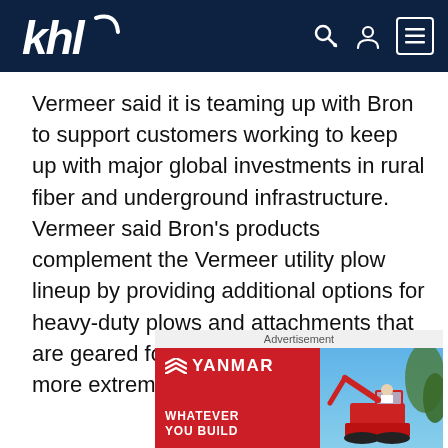khl
Vermeer said it is teaming up with Bron to support customers working to keep up with major global investments in rural fiber and underground infrastructure. Vermeer said Bron’s products complement the Vermeer utility plow lineup by providing additional options for heavy-duty plows and attachments that are geared for some of the deeper and more extreme installation applications.
[Figure (advertisement): Yanmar advertisement with red background showing Yanmar logo and text 'WHATEVER YOU BUILD' on the left side, and a photo of a Yanmar compact excavator with an operator on the right side against a blue sky background.]